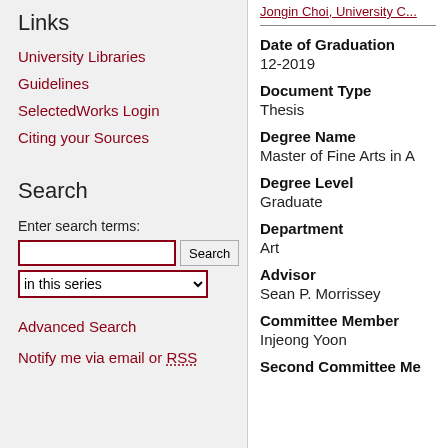Links
University Libraries
Guidelines
SelectedWorks Login
Citing your Sources
Search
Enter search terms:
Advanced Search
Notify me via email or RSS
Jongin Choi, University C...
Date of Graduation
12-2019
Document Type
Thesis
Degree Name
Master of Fine Arts in A
Degree Level
Graduate
Department
Art
Advisor
Sean P. Morrissey
Committee Member
Injeong Yoon
Second Committee Me